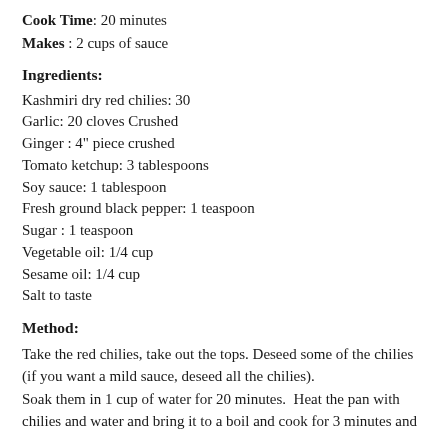Cook Time: 20 minutes
Makes : 2 cups of sauce
Ingredients:
Kashmiri dry red chilies: 30
Garlic: 20 cloves Crushed
Ginger : 4" piece crushed
Tomato ketchup: 3 tablespoons
Soy sauce: 1 tablespoon
Fresh ground black pepper: 1 teaspoon
Sugar : 1 teaspoon
Vegetable oil: 1/4 cup
Sesame oil: 1/4 cup
Salt to taste
Method:
Take the red chilies, take out the tops. Deseed some of the chilies (if you want a mild sauce, deseed all the chilies).
Soak them in 1 cup of water for 20 minutes.  Heat the pan with chilies and water and bring it to a boil and cook for 3 minutes and turn off the...